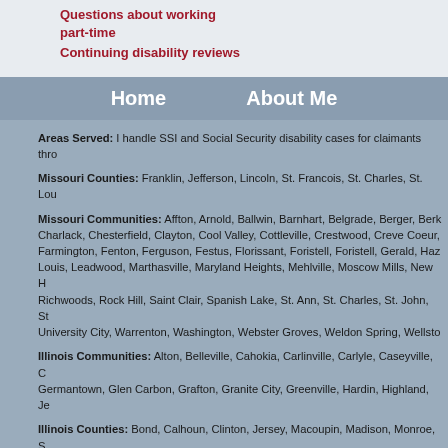Questions about working part-time
Continuing disability reviews
Home   About Me
Areas Served: I handle SSI and Social Security disability cases for claimants thro...
Missouri Counties: Franklin, Jefferson, Lincoln, St. Francois, St. Charles, St. Lou...
Missouri Communities: Affton, Arnold, Ballwin, Barnhart, Belgrade, Berger, Berk..., Charlack, Chesterfield, Clayton, Cool Valley, Cottleville, Crestwood, Creve Coeur,..., Farmington, Fenton, Ferguson, Festus, Florissant, Foristell, Foristell, Gerald, Haz..., Louis, Leadwood, Marthasville, Maryland Heights, Mehlville, Moscow Mills, New H..., Richwoods, Rock Hill, Saint Clair, Spanish Lake, St. Ann, St. Charles, St. John, St..., University City, Warrenton, Washington, Webster Groves, Weldon Spring, Wellsto...
Illinois Communities: Alton, Belleville, Cahokia, Carlinville, Carlyle, Caseyville, C..., Germantown, Glen Carbon, Grafton, Granite City, Greenville, Hardin, Highland, Je...
Illinois Counties: Bond, Calhoun, Clinton, Jersey, Macoupin, Madison, Monroe, S...
Experienced disability lawyers in other regions: Van Nuys Social Security di... attorney, Lansing Social Security lawyer, Phoenix disability attorney, Orland...
The choice of a lawyer is an important decision and should not be based sol...